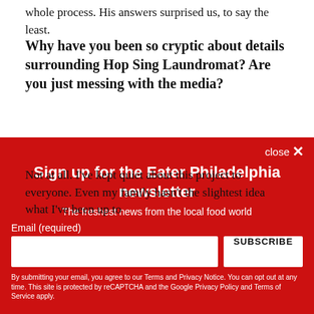whole process. His answers surprised us, to say the least.
Why have you been so cryptic about details surrounding Hop Sing Laundromat? Are you just messing with the media?
Not at all. I've kept quiet about this project to everyone. Even my family hasn't the slightest idea what I've been up to
close ✕
Sign up for the Eater Philadelphia newsletter
The freshest news from the local food world
Email (required)
SUBSCRIBE
By submitting your email, you agree to our Terms and Privacy Notice. You can opt out at any time. This site is protected by reCAPTCHA and the Google Privacy Policy and Terms of Service apply.